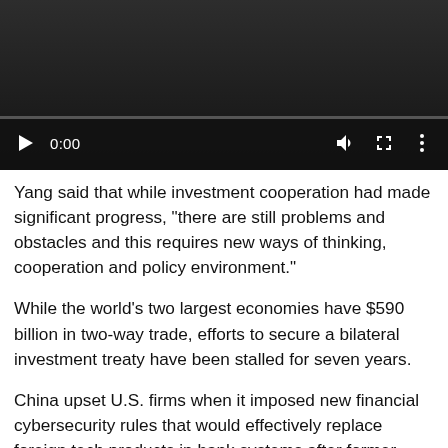[Figure (screenshot): Embedded video player showing a dark/black video frame with playback controls at the bottom: play button, time display showing 0:00, progress bar, volume icon, fullscreen icon, and options (three dots) icon.]
Yang said that while investment cooperation had made significant progress, "there are still problems and obstacles and this requires new ways of thinking, cooperation and policy environment."
While the world's two largest economies have $590 billion in two-way trade, efforts to secure a bilateral investment treaty have been stalled for seven years.
China upset U.S. firms when it imposed new financial cybersecurity rules that would effectively replace foreign tech products in bank systems after former U.S. National